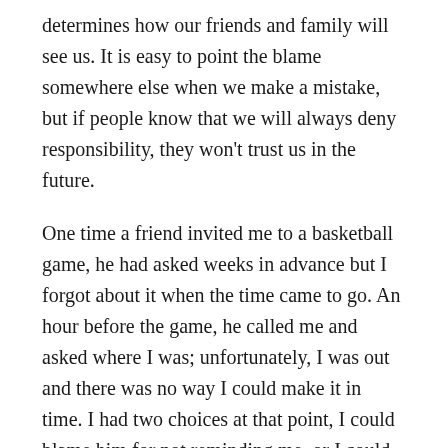determines how our friends and family will see us. It is easy to point the blame somewhere else when we make a mistake, but if people know that we will always deny responsibility, they won't trust us in the future.
One time a friend invited me to a basketball game, he had asked weeks in advance but I forgot about it when the time came to go. An hour before the game, he called me and asked where I was; unfortunately, I was out and there was no way I could make it in time. I had two choices at that point, I could blame him for not reminding me, or I could acknowledge that it was my fault for not writing it down and planning ahead.
Personal responsibility is important because if we